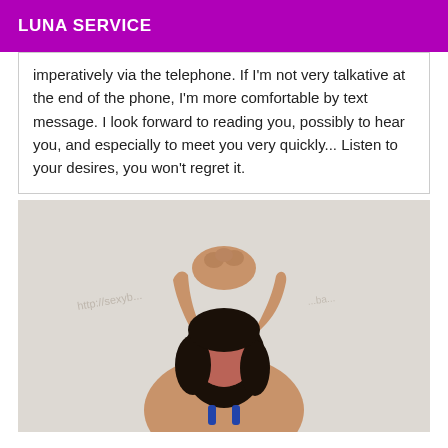LUNA SERVICE
imperatively via the telephone. If I'm not very talkative at the end of the phone, I'm more comfortable by text message. I look forward to reading you, possibly to hear you, and especially to meet you very quickly... Listen to your desires, you won't regret it.
[Figure (photo): A woman with dark hair posing with arms raised above her head, face blurred, against a light background, wearing a blue top.]